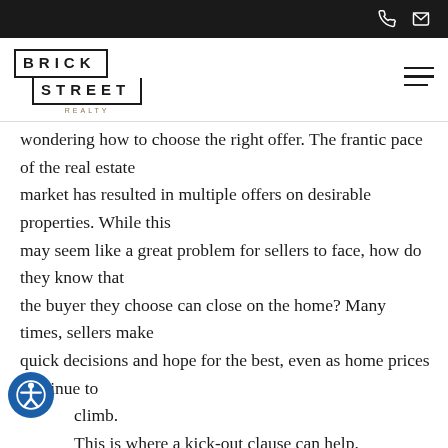Brick Street Realty — navigation bar with phone and email icons
[Figure (logo): Brick Street Realty logo with bordered text blocks]
wondering how to choose the right offer. The frantic pace of the real estate market has resulted in multiple offers on desirable properties. While this may seem like a great problem for sellers to face, how do they know that the buyer they choose can close on the home? Many times, sellers make quick decisions and hope for the best, even as home prices continue to climb. This is where a kick-out clause can help. A kick-out clause allows a seller to continue to
[Figure (illustration): Accessibility icon button (person with arms out in circle), blue circle]